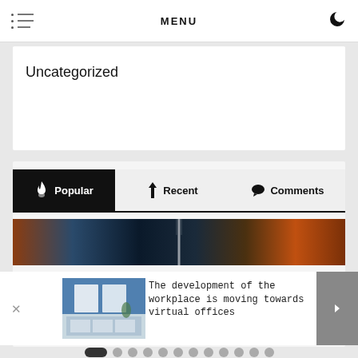MENU
Uncategorized
Popular	Recent	Comments
[Figure (photo): Dark horizontal banner image with lighting effects – orange, blue, dark tones, vertical light beam in center]
[Figure (photo): Office workspace thumbnail image with desks and chairs]
The development of the workplace is moving towards virtual offices
[Figure (infographic): Carousel pagination dots row, first dot active (pill shaped dark), rest grey circles]